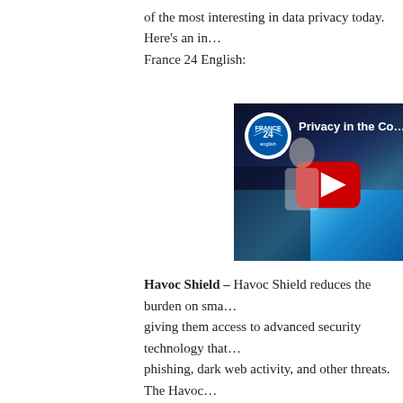of the most interesting in data privacy today. Here's an in…
France 24 English:
[Figure (screenshot): YouTube video thumbnail showing a France 24 English broadcast titled 'Privacy in the Co…' with a news anchor visible and a large red YouTube play button in the center.]
Havoc Shield – Havoc Shield reduces the burden on sma… giving them access to advanced security technology that… phishing, dark web activity, and other threats. The Havoc… comprehensive security and compliance features that me… companies, making it easier for businesses working to w… long time, cybersecurity technology has been virtually in… largely can't afford those resources," said Brian Fritton,… "We created Havoc Shield because we believe in democ… Small businesses deserve the ability to protect what the…